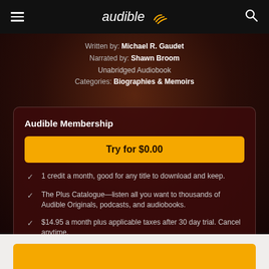[Figure (logo): Audible logo with navigation hamburger menu and search icon on dark top bar]
Written by: Michael R. Gaudet
Narrated by: Shawn Broom
Unabridged Audiobook
Categories: Biographies & Memoirs
Audible Membership
Try for $0.00
1 credit a month, good for any title to download and keep.
The Plus Catalogue—listen all you want to thousands of Audible Originals, podcasts, and audiobooks.
$14.95 a month plus applicable taxes after 30 day trial. Cancel anytime.